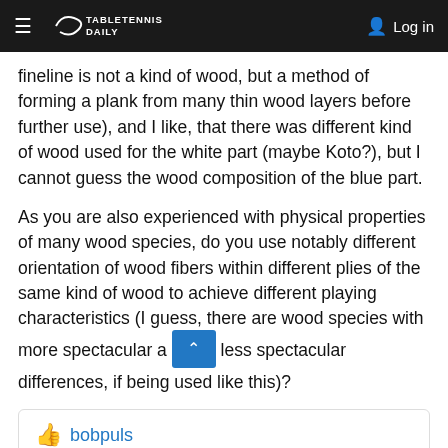TABLETENNISDAILY  Log in
fineline is not a kind of wood, but a method of forming a plank from many thin wood layers before further use), and I like, that there was different kind of wood used for the white part (maybe Koto?), but I cannot guess the wood composition of the blue part.
As you are also experienced with physical properties of many wood species, do you use notably different orientation of wood fibers within different plies of the same kind of wood to achieve different playing characteristics (I guess, there are wood species with more spectacular a less spectacular differences, if being used like this)?
👍 bobpuls
Last edited by damszelfly; 11-13-2021 at 06:24 PM.